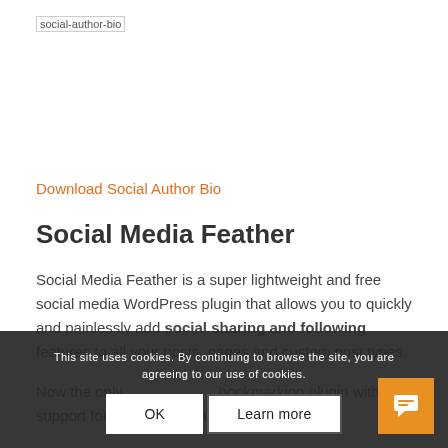[Figure (logo): social-author-bio logo image placeholder text]
Download Social Author Bio
Social Media Feather
Social Media Feather is a super lightweight and free social media WordPress plugin that allows you to quickly and painlessly add social sharing and following features to all your posts, pages and custom post types.
Now the only social bookmarking plugin with full support for the Retina and hig…
This site uses cookies. By continuing to browse the site, you are agreeing to our use of cookies.